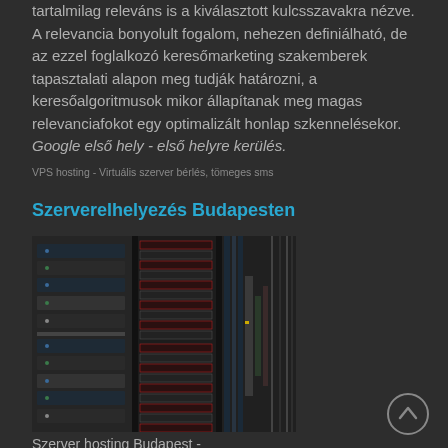tartalmilag releváns is a kiválasztott kulcsszavakra nézve. A relevancia bonyolult fogalom, nehezen definiálható, de az ezzel foglalkozó keresőmarketing szakemberek tapasztalati alapon meg tudják határozni, a keresőalgoritmusok mikor állapítanak meg magas relevanciafokot egy optimalizált honlap szkennelésekor. Google első hely - első helyre kerülés.
VPS hosting - Virtuális szerver bérlés, tömeges sms
Szerverelhelyezés Budapesten
[Figure (photo): Photo of server racks in a data center, showing multiple rack-mounted servers with cables and equipment.]
Szerver hosting Budapest -